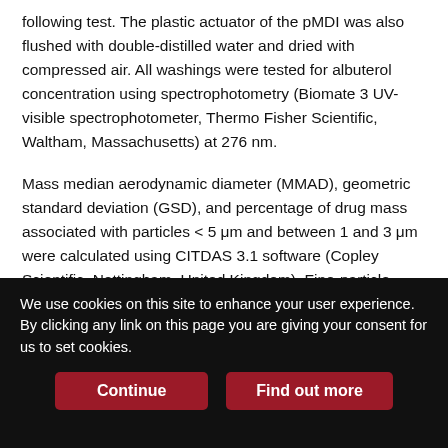following test. The plastic actuator of the pMDI was also flushed with double-distilled water and dried with compressed air. All washings were tested for albuterol concentration using spectrophotometry (Biomate 3 UV-visible spectrophotometer, Thermo Fisher Scientific, Waltham, Massachusetts) at 276 nm.
Mass median aerodynamic diameter (MMAD), geometric standard deviation (GSD), and percentage of drug mass associated with particles < 5 μm and between 1 and 3 μm were calculated using CITDAS 3.1 software (Copley Scientific, Nottingham, United Kingdom). Fine-particle mass was calculated as the amount of drug captured in stages 4–7 of the impactor.7 Variation was calculated as follows: (variable at 30 or 15 s – variable at 60 s)/variable at 60 s ×
We use cookies on this site to enhance your user experience. By clicking any link on this page you are giving your consent for us to set cookies.